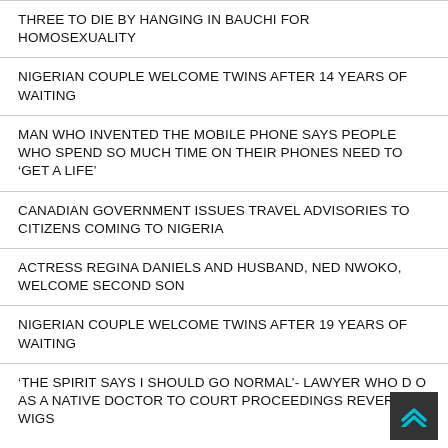THREE TO DIE BY HANGING IN BAUCHI FOR HOMOSEXUALITY
NIGERIAN COUPLE WELCOME TWINS AFTER 14 YEARS OF WAITING
MAN WHO INVENTED THE MOBILE PHONE SAYS PEOPLE WHO SPEND SO MUCH TIME ON THEIR PHONES NEED TO ‘GET A LIFE’
CANADIAN GOVERNMENT ISSUES TRAVEL ADVISORIES TO CITIZENS COMING TO NIGERIA
ACTRESS REGINA DANIELS AND HUSBAND, NED NWOKO, WELCOME SECOND SON
NIGERIAN COUPLE WELCOME TWINS AFTER 19 YEARS OF WAITING
‘THE SPIRIT SAYS I SHOULD GO NORMAL’- LAWYER WHO D AS A NATIVE DOCTOR TO COURT PROCEEDINGS REVERTS WIGS